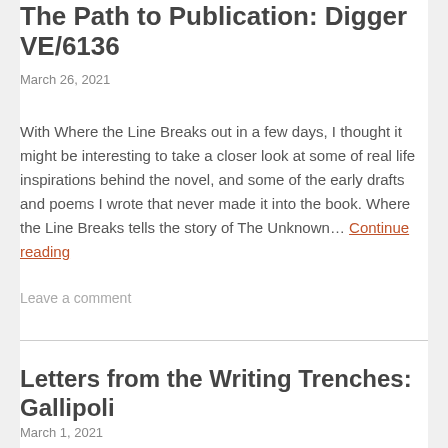The Path to Publication: Digger VE/6136
March 26, 2021
With Where the Line Breaks out in a few days, I thought it might be interesting to take a closer look at some of real life inspirations behind the novel, and some of the early drafts and poems I wrote that never made it into the book. Where the Line Breaks tells the story of The Unknown… Continue reading
Leave a comment
Letters from the Writing Trenches: Gallipoli
March 1, 2021